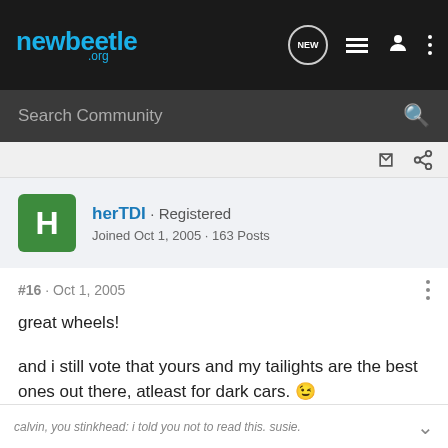newbeetle .org
Search Community
herTDI · Registered
Joined Oct 1, 2005 · 163 Posts
#16 · Oct 1, 2005
great wheels!
and i still vote that yours and my tailights are the best ones out there, atleast for dark cars. 😉
calvin, you stinkhead: i told you not to read this. susie.